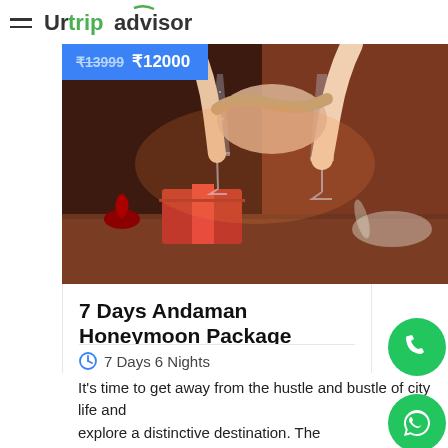Urtripadvisor
[Figure (photo): Couple clinking champagne glasses over a romantic dinner table with a red rose and gift box]
7 Days Andaman Honeymoon Package
7 Days 6 Nights
It's time to get away from the hustle and bustle of city life and explore a distinctive destination. The